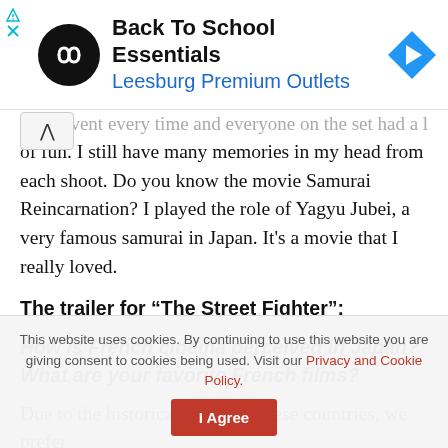[Figure (infographic): Advertisement banner: black circle logo with white infinity/loop icon, text 'Back To School Essentials' in bold black, 'Leesburg Premium Outlets' in blue, blue diamond navigation icon on right. Small ad indicator icons (triangle and X) on left.]
...event every time and everyone on the set had a lot of fun. I still have many memories in my head from each shoot. Do you know the movie Samurai Reincarnation? I played the role of Yagyu Jubei, a very famous samurai in Japan. It's a movie that I really loved.
The trailer for “The Street Fighter”:
How is French cinema perceived in Japan? What are your favorite French films?
Due to the historical aspect of these countries, we prefer
This website uses cookies. By continuing to use this website you are giving consent to cookies being used. Visit our Privacy and Cookie Policy.